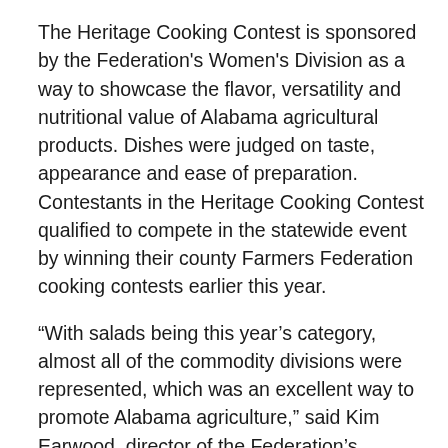The Heritage Cooking Contest is sponsored by the Federation's Women's Division as a way to showcase the flavor, versatility and nutritional value of Alabama agricultural products. Dishes were judged on taste, appearance and ease of preparation. Contestants in the Heritage Cooking Contest qualified to compete in the statewide event by winning their county Farmers Federation cooking contests earlier this year.
“With salads being this year’s category, almost all of the commodity divisions were represented, which was an excellent way to promote Alabama agriculture,” said Kim Earwood, director of the Federation’s Women’s Division, adding that the salad theme was recommended by past